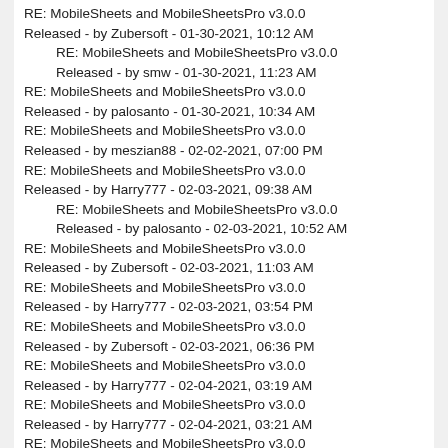RE: MobileSheets and MobileSheetsPro v3.0.0 Released - by Zubersoft - 01-30-2021, 10:12 AM
RE: MobileSheets and MobileSheetsPro v3.0.0 Released - by smw - 01-30-2021, 11:23 AM
RE: MobileSheets and MobileSheetsPro v3.0.0 Released - by palosanto - 01-30-2021, 10:34 AM
RE: MobileSheets and MobileSheetsPro v3.0.0 Released - by meszian88 - 02-02-2021, 07:00 PM
RE: MobileSheets and MobileSheetsPro v3.0.0 Released - by Harry777 - 02-03-2021, 09:38 AM
RE: MobileSheets and MobileSheetsPro v3.0.0 Released - by palosanto - 02-03-2021, 10:52 AM
RE: MobileSheets and MobileSheetsPro v3.0.0 Released - by Zubersoft - 02-03-2021, 11:03 AM
RE: MobileSheets and MobileSheetsPro v3.0.0 Released - by Harry777 - 02-03-2021, 03:54 PM
RE: MobileSheets and MobileSheetsPro v3.0.0 Released - by Zubersoft - 02-03-2021, 06:36 PM
RE: MobileSheets and MobileSheetsPro v3.0.0 Released - by Harry777 - 02-04-2021, 03:19 AM
RE: MobileSheets and MobileSheetsPro v3.0.0 Released - by Harry777 - 02-04-2021, 03:21 AM
RE: MobileSheets and MobileSheetsPro v3.0.0